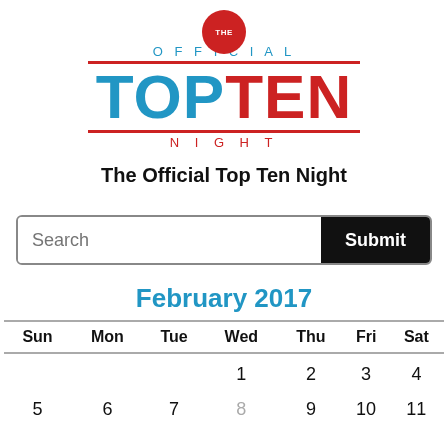[Figure (logo): The Official Top Ten Night logo with red badge saying THE, blue OFFICIAL text, blue TOP and red TEN large text with red lines above and below, red NIGHT text below]
The Official Top Ten Night
Search | Submit
February 2017
| Sun | Mon | Tue | Wed | Thu | Fri | Sat |
| --- | --- | --- | --- | --- | --- | --- |
|  |  |  | 1 | 2 | 3 | 4 |
| 5 | 6 | 7 | 8 | 9 | 10 | 11 |